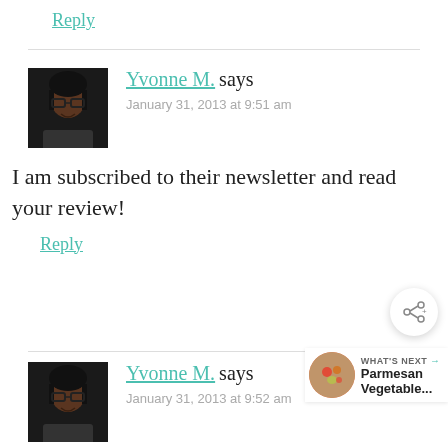Reply
Yvonne M. says
January 31, 2013 at 9:51 am
I am subscribed to their newsletter and read your review!
Reply
Yvonne M. says
January 31, 2013 at 9:52 am